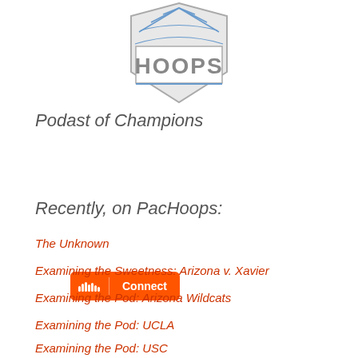[Figure (logo): PacHoops logo with stylized basketball net and 'HOOPS' text in gray with blue accents]
Podast of Champions
[Figure (other): SoundCloud Connect button in orange]
Recently, on PacHoops:
The Unknown
Examining the Sweetness: Arizona v. Xavier
Examining the Pod: Arizona Wildcats
Examining the Pod: UCLA
Examining the Pod: USC